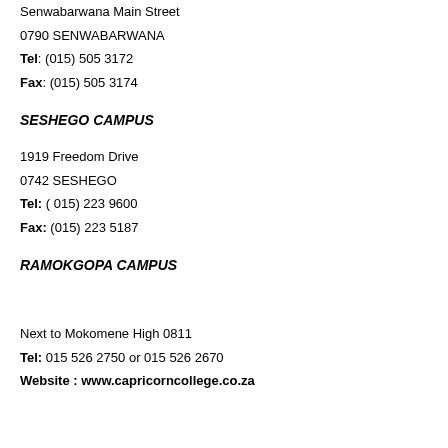Senwabarwana Main Street
0790 SENWABARWANA
Tel: (015) 505 3172
Fax: (015) 505 3174
SESHEGO CAMPUS
1919 Freedom Drive
0742 SESHEGO
Tel: ( 015)  223 9600
Fax: (015)  223 5187
RAMOKGOPA CAMPUS
Next to Mokomene High 0811
Tel: 015 526 2750 or 015 526 2670
Website : www.capricorncollege.co.za